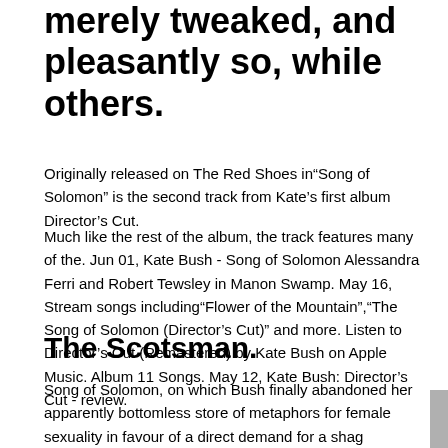merely tweaked, and pleasantly so, while others.
Originally released on The Red Shoes in“Song of Solomon” is the second track from Kate's first album Director’s Cut.
Much like the rest of the album, the track features many of the. Jun 01, Kate Bush - Song of Solomon Alessandra Ferri and Robert Tewsley in Manon Swamp. May 16, Stream songs including“Flower of the Mountain”,“The Song of Solomon (Director’s Cut)” and more. Listen to Director’s Cut (Remastered) by Kate Bush on Apple Music. Album 11 Songs. May 12, Kate Bush: Director’s Cut - review.
The Scotsman.
Song of Solomon, on which Bush finally abandoned her apparently bottomless store of metaphors for female sexuality in favour of a direct demand for a shag Estimated Reading Time: 5 mins.